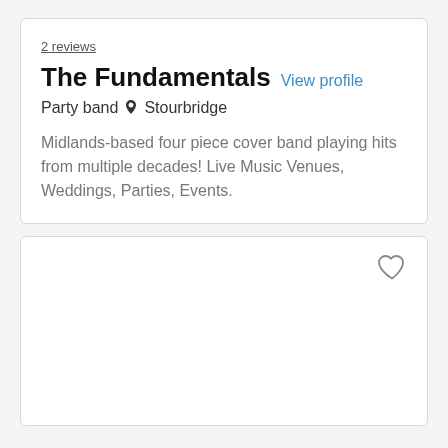2 reviews
The Fundamentals
View profile
Party band  Stourbridge
Midlands-based four piece cover band playing hits from multiple decades! Live Music Venues, Weddings, Parties, Events.
[Figure (other): Empty card with a heart/favourite icon in the top-right corner]